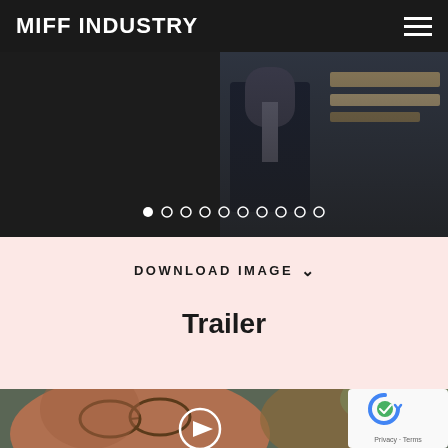MIFF INDUSTRY
[Figure (photo): Slideshow of film stills with navigation dots. Dark cinematic image of a man in a suit. Carousel indicator dots (10 dots, first one filled/active).]
DOWNLOAD IMAGE ∨
Trailer
[Figure (screenshot): Video thumbnail showing close-up of an older person wearing glasses, outdoors. A white play button circle is overlaid. A reCAPTCHA badge is visible in the bottom right corner with Privacy - Terms text.]